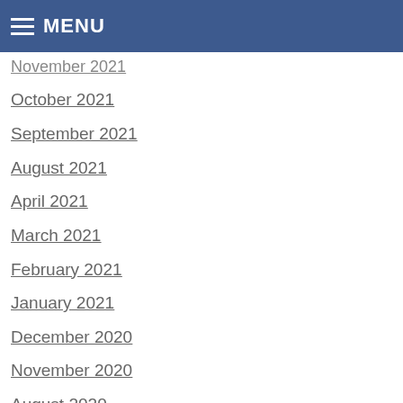MENU
November 2021
October 2021
September 2021
August 2021
April 2021
March 2021
February 2021
January 2021
December 2020
November 2020
August 2020
June 2020
May 2020
April 2020
March 2020
February 2020
January 2020
December 2019